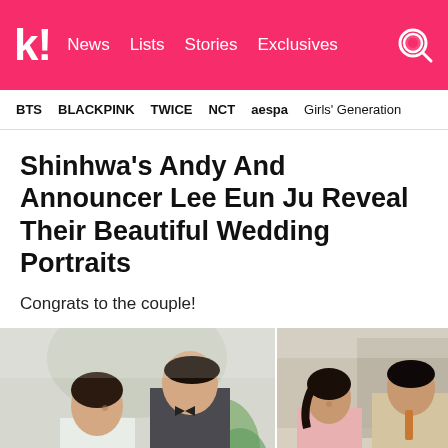k! News Lists Stories Exclusives
BTS  BLACKPINK  TWICE  NCT  aespa  Girls' Generation
Shinhwa's Andy And Announcer Lee Eun Ju Reveal Their Beautiful Wedding Portraits
Congrats to the couple!
[Figure (photo): Two side-by-side wedding portrait photos of Shinhwa's Andy and announcer Lee Eun Ju. Left photo shows the couple in formal wedding attire (bride in light blue/white dress, groom in dark suit with bow tie) leaning together and smiling. Right photo shows the couple in different outfits (bride in pink strapless dress, groom in beige/tan suit) looking at each other and laughing outdoors.]